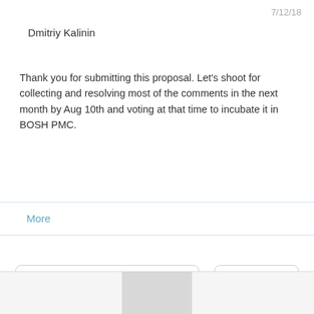7/12/18
Dmitriy Kalinin
Thank you for submitting this proposal. Let's shoot for collecting and resolving most of the comments in the next month by Aug 10th and voting at that time to incubate it in BOSH PMC.
Show quoted text
More
View All 4 Messages In Topic
#2509
Join cf-bosh@lists.cloudfoundry.org to automatically receive all group messages.